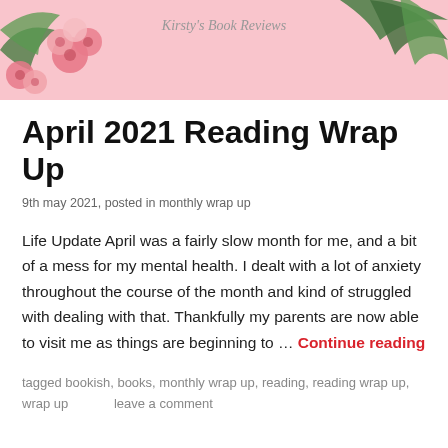[Figure (illustration): Blog header banner with pink background, tropical flowers and palm leaves, with text 'Kirsty's Book Reviews' in script font]
April 2021 Reading Wrap Up
9th may 2021, posted in monthly wrap up
Life Update April was a fairly slow month for me, and a bit of a mess for my mental health. I dealt with a lot of anxiety throughout the course of the month and kind of struggled with dealing with that. Thankfully my parents are now able to visit me as things are beginning to … Continue reading
tagged bookish, books, monthly wrap up, reading, reading wrap up, wrap up      leave a comment